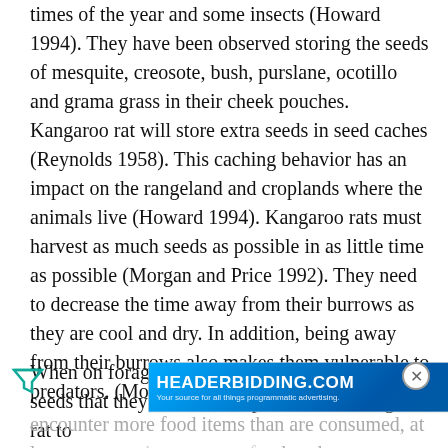They will, however, consume vegetation at certain times of the year and some insects (Howard 1994). They have been observed storing the seeds of mesquite, creosote, bush, purslane, ocotillo and grama grass in their cheek pouches. Kangaroo rat will store extra seeds in seed caches (Reynolds 1958). This caching behavior has an impact on the rangeland and croplands where the animals live (Howard 1994). Kangaroo rats must harvest as much seeds as possible in as little time as possible (Morgan and Price 1992). They need to decrease the time away from their burrows as they are cool and dry. In addition, being away from their burrows also makes them vulnerable to predators. (Morgan and Price 1992).
When on foraging trips, kangaroo rats hoard the seeds that they find. It is important for a kangaroo rat to encounter more food items than are consumed, at least at one point, to create food caches. ... enough to utilize food resources (Schroder 1979). Different species of